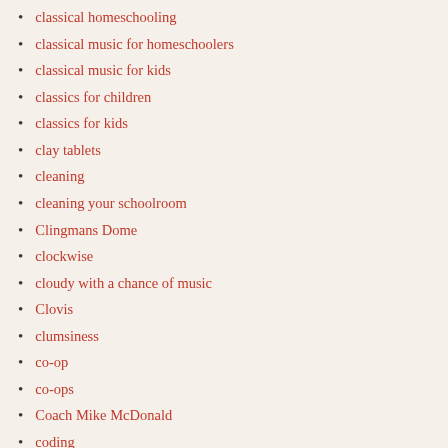classical homeschooling
classical music for homeschoolers
classical music for kids
classics for children
classics for kids
clay tablets
cleaning
cleaning your schoolroom
Clingmans Dome
clockwise
cloudy with a chance of music
Clovis
clumsiness
co-op
co-ops
Coach Mike McDonald
coding
coding for homeschooler